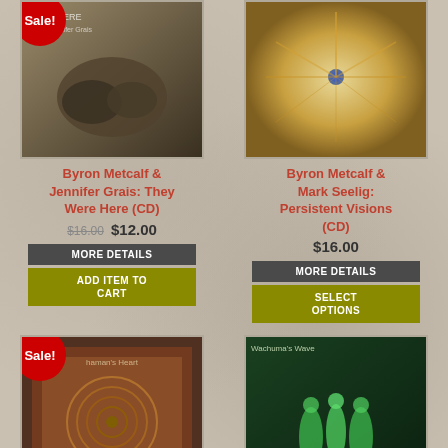[Figure (photo): Album cover: Byron Metcalf & Jennifer Grais - They Were Here (CD), with Sale! badge]
[Figure (photo): Album cover: Byron Metcalf & Mark Seelig - Persistent Visions (CD)]
Byron Metcalf & Jennifer Grais: They Were Here (CD)
Byron Metcalf & Mark Seelig: Persistent Visions (CD)
$16.00 $12.00
$16.00
MORE DETAILS
MORE DETAILS
ADD ITEM TO CART
SELECT OPTIONS
[Figure (photo): Album cover: Byron Metcalf with Steve Roach - Shaman's Heart, with Sale! badge]
[Figure (photo): Album cover: Byron Metcalf with Steve Roach - Wachuma's Wave]
Byron Metcalf with Steve Roach: The...
Byron Metcalf with Steve Roach: